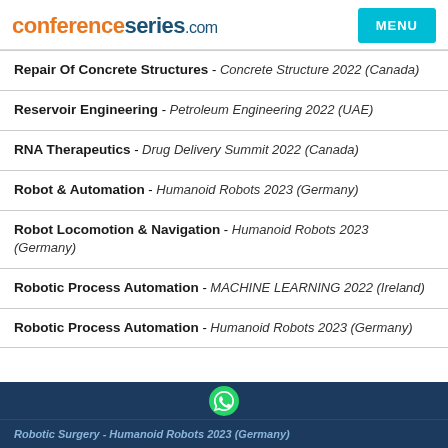conferenceseries.com
Repair Of Concrete Structures - Concrete Structure 2022 (Canada)
Reservoir Engineering - Petroleum Engineering 2022 (UAE)
RNA Therapeutics - Drug Delivery Summit 2022 (Canada)
Robot & Automation - Humanoid Robots 2023 (Germany)
Robot Locomotion & Navigation - Humanoid Robots 2023 (Germany)
Robotic Process Automation - MACHINE LEARNING 2022 (Ireland)
Robotic Process Automation - Humanoid Robots 2023 (Germany)
Robotic Surgery - Humanoid Robots 2023 (Germany)